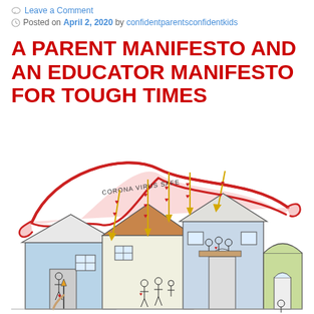Leave a Comment
Posted on April 2, 2020 by confidentparentsconfidentkids
A PARENT MANIFESTO AND AN EDUCATOR MANIFESTO FOR TOUGH TIMES
[Figure (illustration): Hand-drawn illustration of houses with a large red arching shape labeled 'CORONA VIRUS SAFE' over them. Yellow arrows with red hearts point downward toward the houses. People including families are shown inside and around the houses. The left house is blue, the middle has an orange/brown roof, and the right house is green with an arched doorway.]